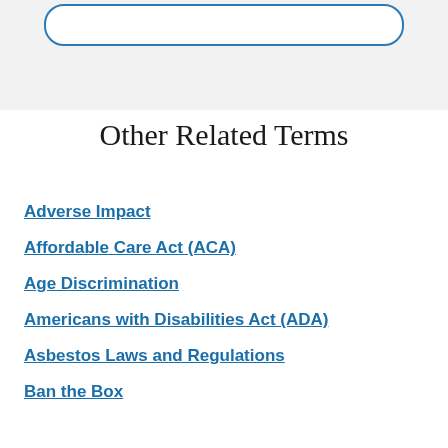[Figure (other): Rounded rectangle box outline in blue on a light gray background, likely a search or input field area]
Other Related Terms
Adverse Impact
Affordable Care Act (ACA)
Age Discrimination
Americans with Disabilities Act (ADA)
Asbestos Laws and Regulations
Ban the Box